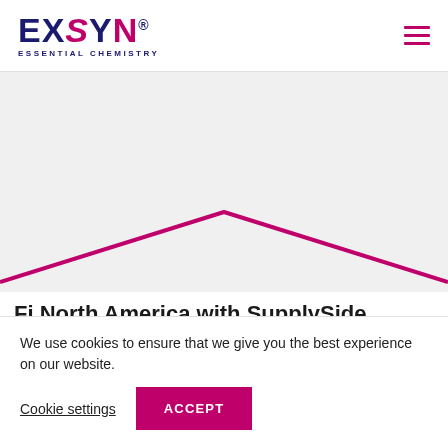[Figure (logo): EXSYN logo with tagline ESSENTIAL CHEMISTRY in navy blue and magenta]
[Figure (illustration): Abstract decorative hero graphic with light grey background and a V-shaped magenta/crimson line forming a chevron pattern]
Fi North America with SupplySide West –
The most international of international...
We use cookies to ensure that we give you the best experience on our website.
Cookie settings
ACCEPT